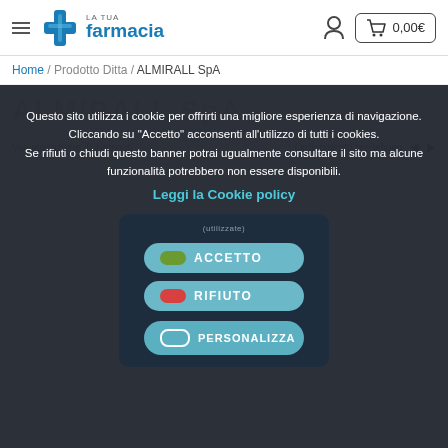LA TUA farmacia — 0,00€
Home / Prodotto Ditta / ALMIRALL SpA
[Figure (screenshot): Cookie consent modal overlay on an Italian pharmacy e-commerce website (La Tua Farmacia). The modal shows a dark semi-transparent overlay with Italian cookie policy text, a 'Leggi la Cookie policy' link in teal, and three buttons: ACCETTO (green toggle), RIFIUTO (red toggle), PERSONALIZZA (teal toggle).]